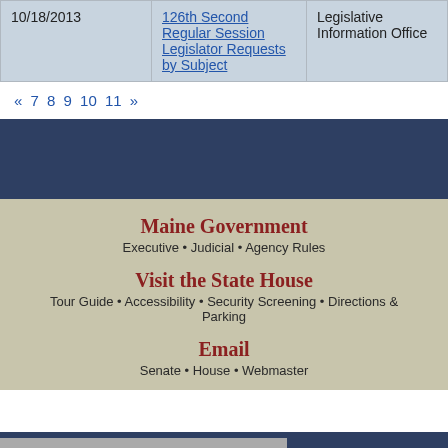| Date | Document | Source |
| --- | --- | --- |
| 10/18/2013 | 126th Second Regular Session Legislator Requests by Subject | Legislative Information Office |
« 7 8 9 10 11 »
Maine Government
Executive • Judicial • Agency Rules
Visit the State House
Tour Guide • Accessibility • Security Screening • Directions & Parking
Email
Senate • House • Webmaster